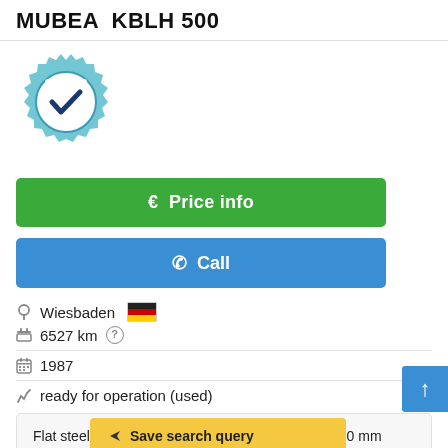MUBEA  KBLH 500
[Figure (logo): Certified Dealer badge — gear shape with checkmark and text CERTIFIED DEALER]
€  Price info
✆  Call
Wiesbaden 🇩🇪
6527 km ?
1987
ready for operation (used)
Flat steel scissors: 180 x 20 mm Cutting length: 410 mm Profile s section 3000 mm² mm T-steel at 90 °: 90 x 10 mm Round / square steel: 35/32
Save search query